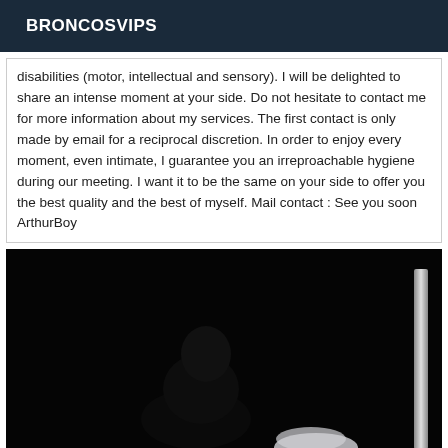BRONCOSVIPS
disabilities (motor, intellectual and sensory). I will be delighted to share an intense moment at your side. Do not hesitate to contact me for more information about my services. The first contact is only made by email for a reciprocal discretion. In order to enjoy every moment, even intimate, I guarantee you an irreproachable hygiene during our meeting. I want it to be the same on your side to offer you the best quality and the best of myself. Mail contact : See you soon ArthurBoy
[Figure (photo): Dark photograph showing a figure in low-light setting with a chrome/silver vertical bar visible on the right side]